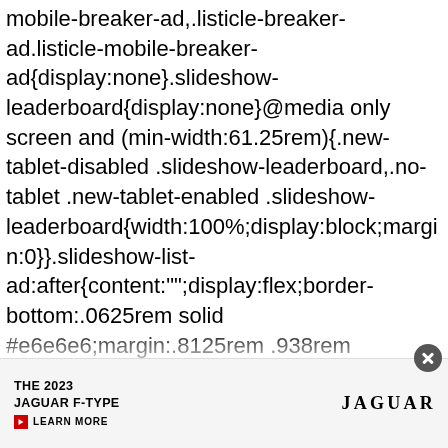mobile-breaker-ad,.listicle-breaker-ad.listicle-mobile-breaker-ad{display:none}.slideshow-leaderboard{display:none}@media only screen and (min-width:61.25rem){.new-tablet-disabled .slideshow-leaderboard,.no-tablet .new-tablet-enabled .slideshow-leaderboard{width:100%;display:block;margin:0}}.slideshow-list-ad:after{content:"";display:flex;border-bottom:.0625rem solid #e6e6e6;margin:.8125rem .938rem 0}@media only screen and (min-width:40.625rem){.slideshow-list-ad:after{margin:.8125rem 2.5rem 0}}@media only screen and (min-width:61.25rem){.slideshow-list-ad:after{margin:.8125rem 0 0}}.mobile-slideshow .slideshow-list-ad{display:none}@media only screen and (min-width:40.625rem){.slideshow-list
[Figure (other): Advertisement banner for THE 2023 JAGUAR F-TYPE with LEARN MORE button and Jaguar logo on grey background]